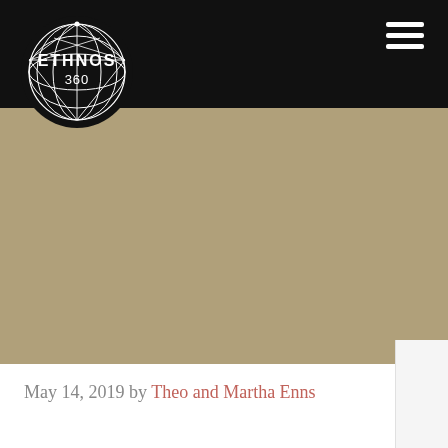ETHNOS 360
[Figure (logo): Ethnos 360 logo: white geometric globe made of triangular mesh lines with text ETHNOS 360 inside, on black background]
[Figure (photo): Narrow strip of tropical jungle/forest photo visible behind the header]
Life in May 2019
May 14, 2019 by Theo and Martha Enns